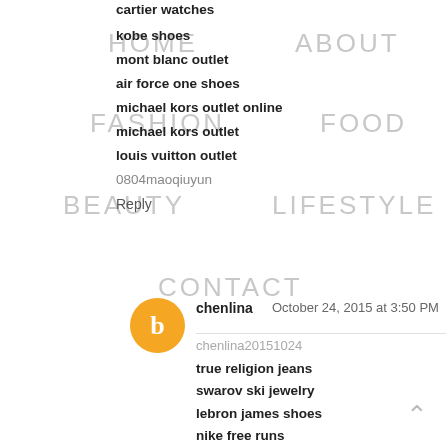cartier watches
kobe shoes
HOME    ABOUT
mont blanc outlet
air force one shoes
michael kors outlet online
FASHION    FOOD
michael kors outlet
louis vuitton outlet
0804maoqiuyun
BEAUTY    LIFESTYLE
Reply
CONTACT
chenlina  October 24, 2015 at 3:50 PM
chenlina20151024
true religion jeans
swarov ski jewelry
lebron james shoes
nike free runs
retro jordans
nike elite socks
jordans for sale
longchamp
burberry outlet